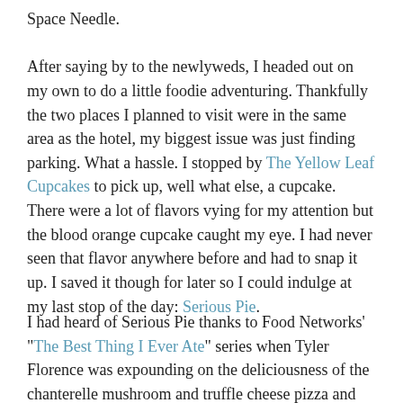Space Needle. After saying by to the newlyweds, I headed out on my own to do a little foodie adventuring. Thankfully the two places I planned to visit were in the same area as the hotel, my biggest issue was just finding parking. What a hassle. I stopped by The Yellow Leaf Cupcakes to pick up, well what else, a cupcake. There were a lot of flavors vying for my attention but the blood orange cupcake caught my eye. I had never seen that flavor anywhere before and had to snap it up. I saved it though for later so I could indulge at my last stop of the day: Serious Pie.
I had heard of Serious Pie thanks to Food Networks' "The Best Thing I Ever Ate" series when Tyler Florence was expounding on the deliciousness of the chanterelle mushroom and truffle cheese pizza and my desire to